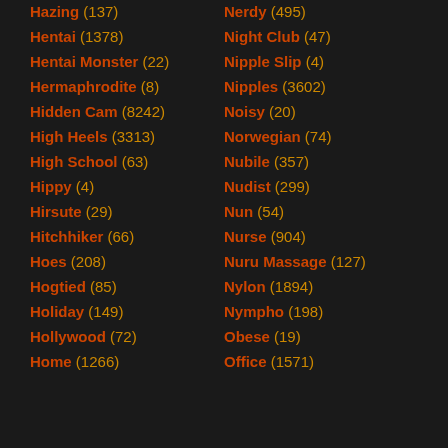Hazing (137)
Hentai (1378)
Hentai Monster (22)
Hermaphrodite (8)
Hidden Cam (8242)
High Heels (3313)
High School (63)
Hippy (4)
Hirsute (29)
Hitchhiker (66)
Hoes (208)
Hogtied (85)
Holiday (149)
Hollywood (72)
Home (1266)
Nerdy (495)
Night Club (47)
Nipple Slip (4)
Nipples (3602)
Noisy (20)
Norwegian (74)
Nubile (357)
Nudist (299)
Nun (54)
Nurse (904)
Nuru Massage (127)
Nylon (1894)
Nympho (198)
Obese (19)
Office (1571)